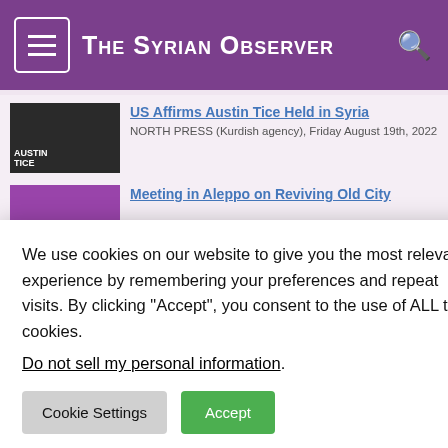The Syrian Observer
[Figure (screenshot): News article thumbnail - Austin Tice photo]
US Affirms Austin Tice Held in Syria
NORTH PRESS (Kurdish agency), Friday August 19th, 2022
[Figure (screenshot): News article thumbnail - Aleppo Old City]
Meeting in Aleppo on Reviving Old City
[Figure (screenshot): Social share toolbar overlay with Facebook, Twitter, Print icons and zoom controls]
SANA (State-run agency), Friday August 19th, 2022
[Figure (screenshot): News article thumbnail - Ship/grain photo]
Ship That Ukraine Alleges Has Stolen Grain Likely off Syria
ASHARQ AL-AWSAT (London-based pan-Arab), Friday August
…against Turkish
August 19th, 2022
We use cookies on our website to give you the most relevant experience by remembering your preferences and repeat visits. By clicking “Accept”, you consent to the use of ALL the cookies.
Do not sell my personal information.
Cookie Settings
Accept
ce covering Syrian
Subscribe to our newsletter
It is dedicated primarily to translating into English news contents